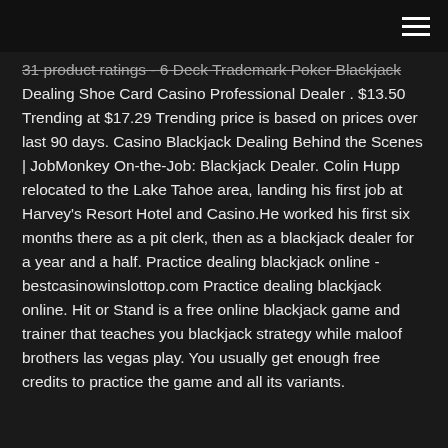31 product ratings - 6 Deck Trademark Poker Blackjack Dealing Shoe Card Casino Professional Dealer . $13.50 Trending at $17.29 Trending price is based on prices over last 90 days. Casino Blackjack Dealing Behind the Scenes | JobMonkey On-the-Job: Blackjack Dealer. Colin Hupp relocated to the Lake Tahoe area, landing his first job at Harvey's Resort Hotel and Casino.He worked his first six months there as a pit clerk, then as a blackjack dealer for a year and a half. Practice dealing blackjack online - bestcasinowinslottop.com Practice dealing blackjack online. Hit or Stand is a free online blackjack game and trainer that teaches you blackjack strategy while maloof brothers las vegas play. You usually get enough free credits to practice the game and all its variants.